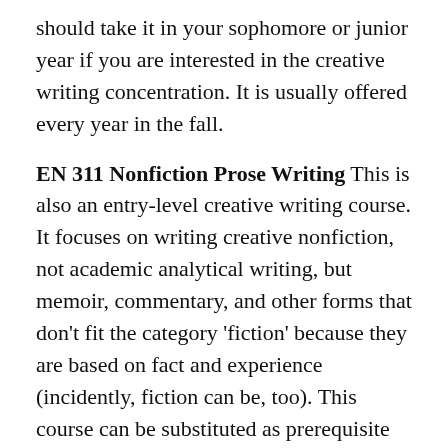should take it in your sophomore or junior year if you are interested in the creative writing concentration. It is usually offered every year in the fall.
EN 311 Nonfiction Prose Writing This is also an entry-level creative writing course. It focuses on writing creative nonfiction, not academic analytical writing, but memoir, commentary, and other forms that don't fit the category 'fiction' because they are based on fact and experience (incidently, fiction can be, too). This course can be substituted as prerequisite for the Fiction Writing Workshop, since there are so many similarities. It is usually offered every year in the spring.
EN 317 Technical and Business Writing This is a another option for literature majors to fulfill their advanced writing requirement (EN 311/312/317). It focuses on practical skills in writing in the workplace. Since it offers creative writing students exposure to writing they